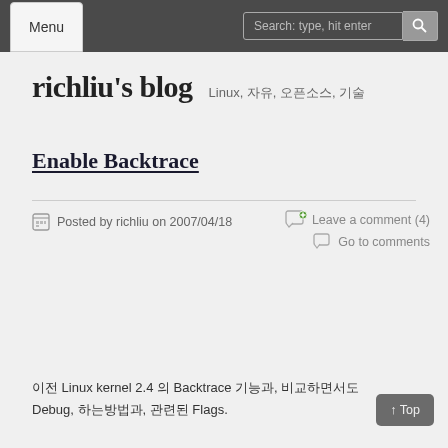Menu | Search: type, hit enter
richliu's blog — Linux, 자유, 오픈소스, 기술
Enable Backtrace
Posted by richliu on 2007/04/18
Leave a comment (4) Go to comments
이전 Linux kernel 2.4 의 Backtrace 기능과, 비교하면서도 Debug, 하는방법과, 관련된 Flags.